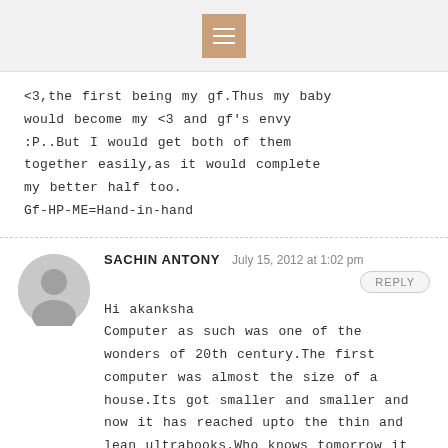[hamburger menu icon]
<3,the first being my gf.Thus my baby would become my <3 and gf's envy :P..But I would get both of them together easily,as it would complete my better half too. Gf-HP-ME=Hand-in-hand
SACHIN ANTONY   July 15, 2012 at 1:02 pm
Hi akanksha
Computer as such was one of the wonders of 20th century.The first computer was almost the size of a house.Its got smaller and smaller and now it has reached upto the thin and lean ultrabooks.Who knows tomorrow it